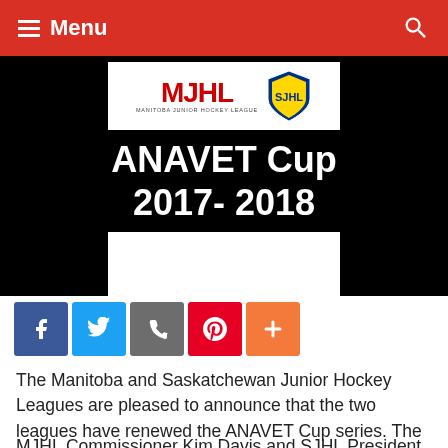Menu
[Figure (illustration): ANAVET Cup 2017-2018 banner with MJHL and SJHL logos on black background]
[Figure (infographic): Social sharing icons: Facebook, Twitter, Email, Pinterest, and a plus button]
The Manitoba and Saskatchewan Junior Hockey Leagues are pleased to announce that the two leagues have renewed the ANAVET Cup series. The winner of this best-of-seven series advances to the RBC Cup.
MJHL Commissioner Kim Davis and SJHL President